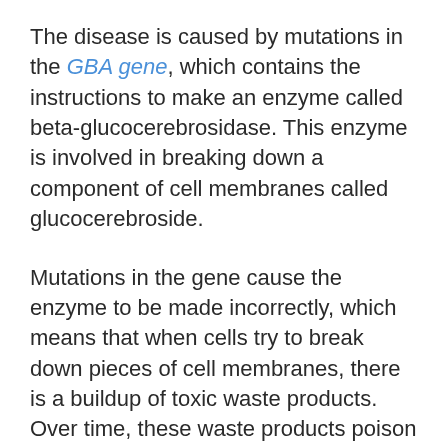The disease is caused by mutations in the GBA gene, which contains the instructions to make an enzyme called beta-glucocerebrosidase. This enzyme is involved in breaking down a component of cell membranes called glucocerebroside.
Mutations in the gene cause the enzyme to be made incorrectly, which means that when cells try to break down pieces of cell membranes, there is a buildup of toxic waste products. Over time, these waste products poison the cell, causing the symptoms of the disease.